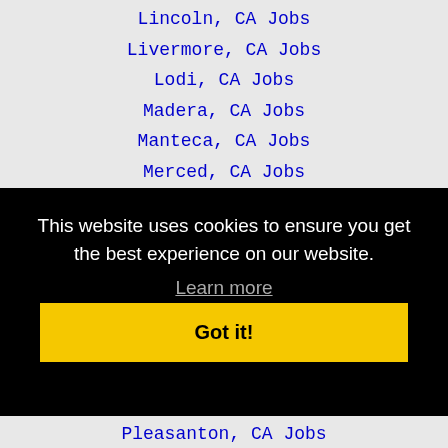Lincoln, CA Jobs
Livermore, CA Jobs
Lodi, CA Jobs
Madera, CA Jobs
Manteca, CA Jobs
Merced, CA Jobs
Milpitas, CA Jobs
Mountain View, CA Jobs
Napa, CA Jobs
Newark, CA Jobs
This website uses cookies to ensure you get the best experience on our website.
Learn more
Got it!
Pleasanton, CA Jobs